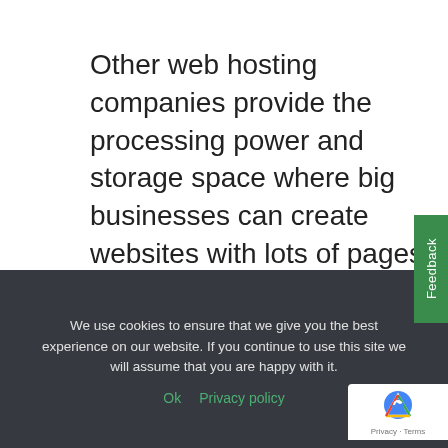Other web hosting companies provide the processing power and storage space where big businesses can create websites with lots of pages that show photos, videos or other content that needs more “horsepower” behind it. Like a truck.
Feedback
We use cookies to ensure that we give you the best experience on our website. If you continue to use this site we will assume that you are happy with it.
Ok   Privacy policy